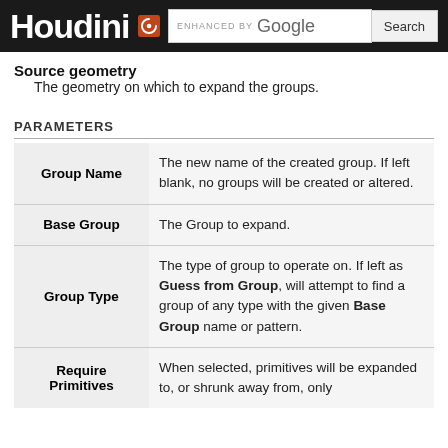Houdini — enhanced by Google Search
Source geometry
The geometry on which to expand the groups.
PARAMETERS
| Parameter | Description |
| --- | --- |
| Group Name | The new name of the created group. If left blank, no groups will be created or altered. |
| Base Group | The Group to expand. |
| Group Type | The type of group to operate on. If left as Guess from Group, will attempt to find a group of any type with the given Base Group name or pattern. |
| Require Primitives | When selected, primitives will be expanded to, or shrunk away from, only |